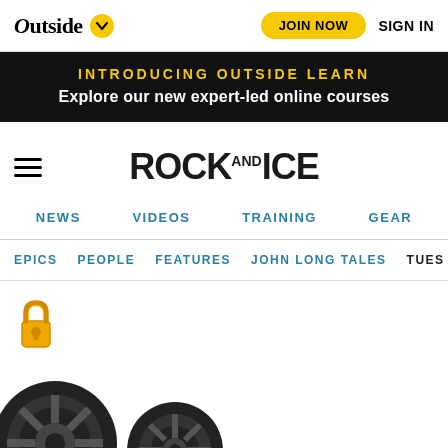Outside  JOIN NOW  SIGN IN
INTRODUCING OUTSIDE LEARN
Explore our new expert-led online courses
ROCK AND ICE
NEWS  VIDEOS  TRAINING  GEAR
EPICS  PEOPLE  FEATURES  JOHN LONG TALES  TUES...
[Figure (illustration): Lock icon (padlock emoji) and partial gear/wheel image at bottom of page]